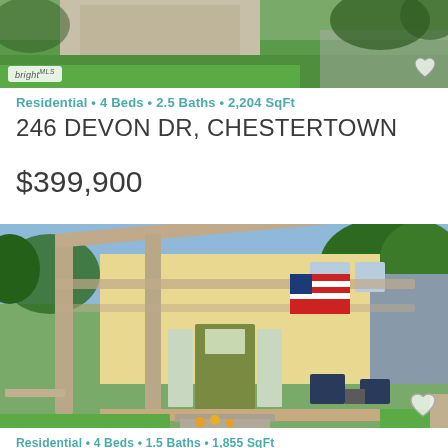[Figure (photo): Aerial/exterior photo of a residential property showing green lawn and driveway, with a bright MLS watermark in the bottom-left corner]
Residential • 4 Beds • 2.5 Baths • 2,204 SqFt
246 DEVON DR, CHESTERTOWN
$399,900
[Figure (photo): Front porch exterior photo of a yellow residential home with a wooden pergola, American flag, green front door, navy Adirondack chairs, and yellow flowers in the foreground]
Residential • 4 Beds • 1.5 Baths • 1,855 SqFt